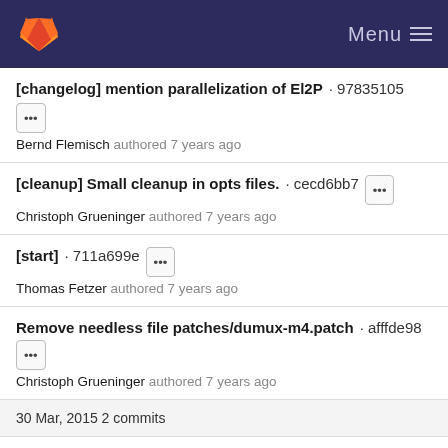Menu
[changelog] mention parallelization of El2P · 97835105 Bernd Flemisch authored 7 years ago
[cleanup] Small cleanup in opts files. · cecd6bb7 Christoph Grueninger authored 7 years ago
[start] · 711a699e Thomas Fetzer authored 7 years ago
Remove needless file patches/dumux-m4.patch · afffde98 Christoph Grueninger authored 7 years ago
30 Mar, 2015 2 commits
[autotools] Deprecation support for Autotools. · a32aac32 Christoph Grueninger authored 7 years ago